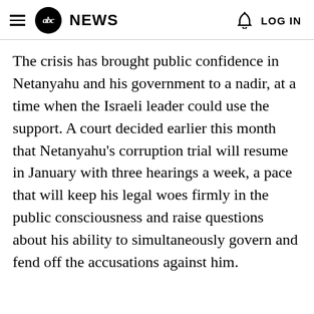abc NEWS  LOG IN
The crisis has brought public confidence in Netanyahu and his government to a nadir, at a time when the Israeli leader could use the support. A court decided earlier this month that Netanyahu's corruption trial will resume in January with three hearings a week, a pace that will keep his legal woes firmly in the public consciousness and raise questions about his ability to simultaneously govern and fend off the accusations against him.